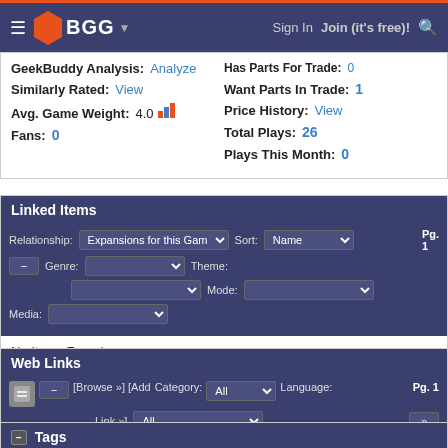BGG — Sign In  Join (it's free)!
Has Parts For Trade: 0
Want Parts In Trade: 1
Price History: View
Total Plays: 26
Plays This Month: 0
GeekBuddy Analysis: Analyze
Similarly Rated: View
Avg. Game Weight: 4.0
Fans: 0
Linked Items
Relationship: Expansions for this Game  Sort: Name
Genre:  Theme:
Mode:
Media:
No Items Found
Web Links
[Browse »] [Add Link »] Category: All  Language: All
No Web Links Found
Tags